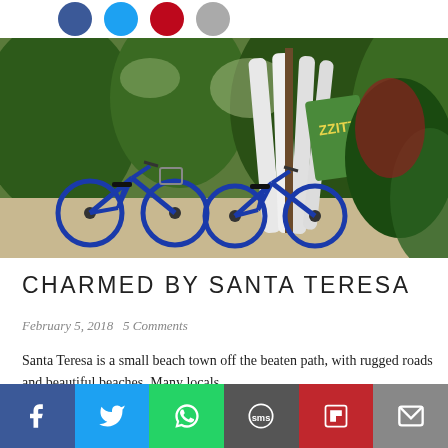[Figure (photo): Blue beach cruiser bicycles parked next to surfboards leaning against a wooden rack, surrounded by lush tropical greenery]
CHARMED BY SANTA TERESA
February 5, 2018   5 Comments
Santa Teresa is a small beach town off the beaten path, with rugged roads and beautiful beaches. Many locals
[Figure (infographic): Bottom social sharing bar with Facebook, Twitter, WhatsApp, SMS, Flipboard, and Email icons]